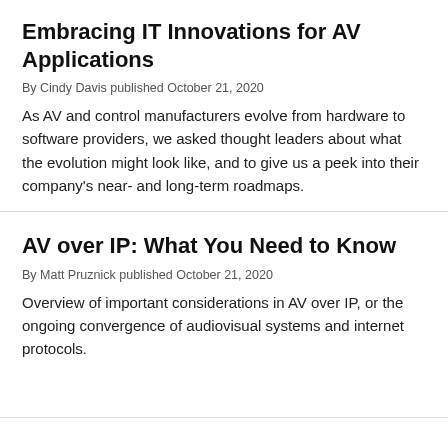Embracing IT Innovations for AV Applications
By Cindy Davis published October 21, 2020
As AV and control manufacturers evolve from hardware to software providers, we asked thought leaders about what the evolution might look like, and to give us a peek into their company's near- and long-term roadmaps.
AV over IP: What You Need to Know
By Matt Pruznick published October 21, 2020
Overview of important considerations in AV over IP, or the ongoing convergence of audiovisual systems and internet protocols.